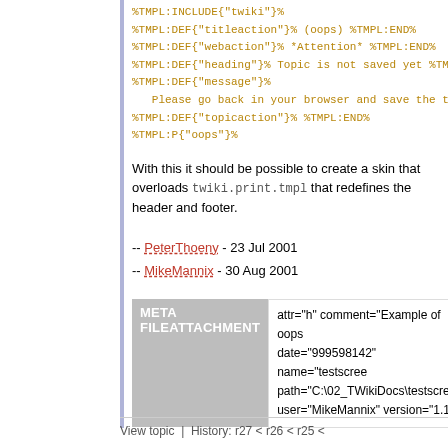%TMPL:INCLUDE{"twiki"}%
%TMPL:DEF{"titleaction"}% (oops) %TMPL:END%
%TMPL:DEF{"webaction"}% *Attention* %TMPL:END%
%TMPL:DEF{"heading"}% Topic is not saved yet %TMPL:END%
%TMPL:DEF{"message"}%
   Please go back in your browser and save the topic. %T
%TMPL:DEF{"topicaction"}% %TMPL:END%
%TMPL:P{"oops"}%
With this it should be possible to create a skin that overloads twiki.print.tmpl that redefines the header and footer.
-- PeterThoeny - 23 Jul 2001
-- MikeMannix - 30 Aug 2001
| META FILEATTACHMENT | attr="h" comment="Example of oops date="999598142" name="testscre... path="C:\02_TWikiDocs\testscreen. user="MikeMannix" version="1.1" |
| --- | --- |
View topic | History: r27 < r26 < r25 <